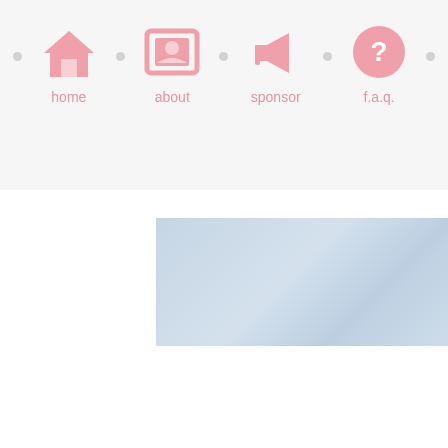home | about | sponsor | f.a.q.
[Figure (screenshot): Top-right partial photo showing light blue/grey textured surface]
In November I started to feel... dress go a long way for a g...
[Figure (photo): Bottom-right partial photo showing warm brown skin tones]